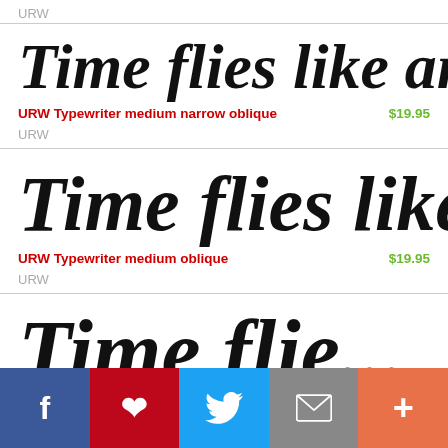URW
Time flies like an a
URW Typewriter medium narrow oblique
$19.95
URW
Time flies like an
URW Typewriter medium oblique
$19.95
URW
Time flie...